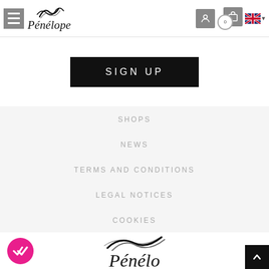Pénélope navigation header with hamburger menu, logo, user icon, cart, and UK flag language selector
SIGN UP
SHOPS
NEWS
TERMS AND CONDITIONS
LEGAL NOTICES
COOKIES
[Figure (logo): Pénélope brand logo with decorative knot/horse motif above italic serif text 'Pénélope']